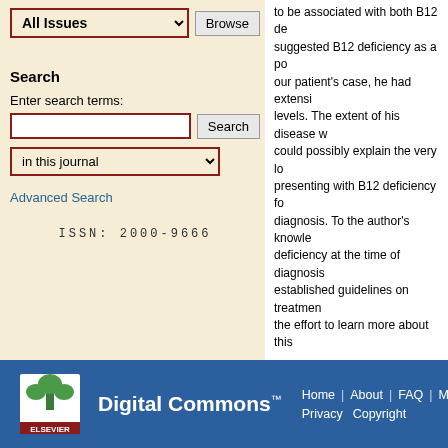All Issues
Search
Enter search terms:
in this journal
Advanced Search
ISSN: 2000-9666
to be associated with both B12 de... suggested B12 deficiency as a po... our patient's case, he had extensi... levels. The extent of his disease w... could possibly explain the very lo... presenting with B12 deficiency fo... diagnosis. To the author's knowle... deficiency at the time of diagnosis... established guidelines on treatmen... the effort to learn more about this...
Recommended Citation
Faheem, Beenish; Ayad, Sarah; Bond... CNS involvement in the form of lept... Journal of Community Hospital Inte... DOI: 10.55729/2000-9666.1011 Available at: https://scholarlycommen...
Digital Commons™  Home | About | FAQ | My... Privacy  Copyright